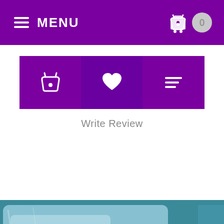MENU
[Figure (screenshot): Three purple icon buttons: basket, heart/wishlist, and menu/sort icons]
Write Review
[Figure (photo): Product photo of a dried herb or tea in a clear plastic bag with a NEW badge in the upper right corner]